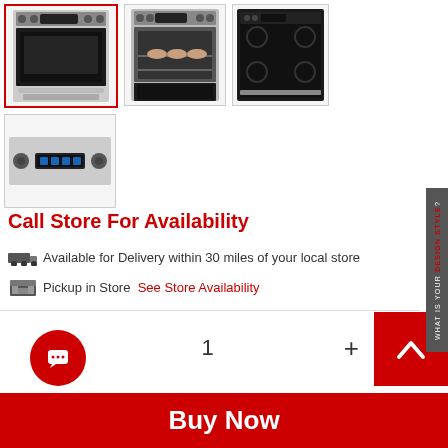[Figure (photo): Product thumbnail images of a GE stainless steel electric range/oven, showing 4 views: front view (selected, red border), open oven with food inside, top cooktop view, and control panel close-up]
Call Store For Availability
Available for Delivery within 30 miles of your local store
Pickup in Store  See Store Availability
1  +
[Figure (other): Red chat button (circular) and red scroll-to-top button with upward chevron]
Buy Now
WHAT IS YOUR DESIGN STYLE?